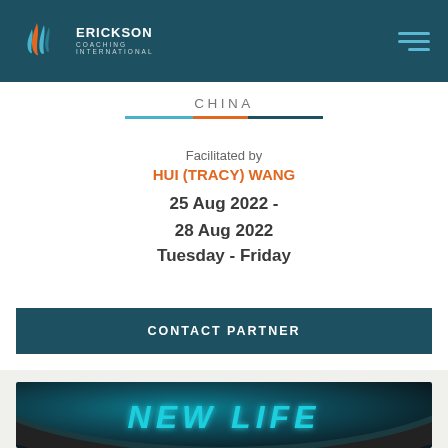Erickson Coaching International
CHINA
Facilitated by
HUI (TRACY) WANG
25 Aug 2022 - 28 Aug 2022
Tuesday - Friday
CONTACT PARTNER
[Figure (photo): Image showing 'NEW LIFE' text in glowing teal letters on a dark curved surface, resembling a tire or wheel]